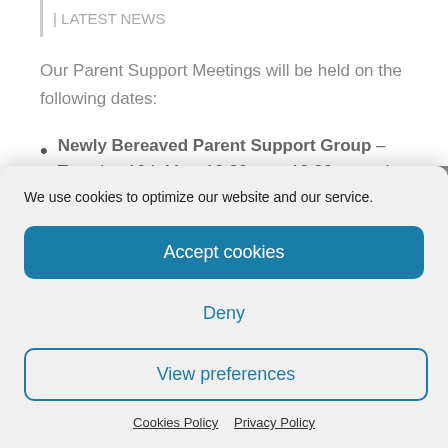| LATEST NEWS
Our Parent Support Meetings will be held on the following dates:
Newly Bereaved Parent Support Group – Tuesday 10th May, 10.30am – 12.30pm and
We use cookies to optimize our website and our service.
Accept cookies
Deny
View preferences
Cookies Policy   Privacy Policy